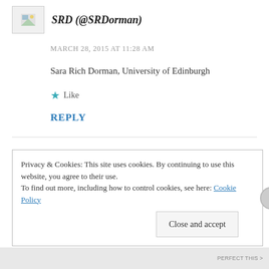SRD (@SRDorman)
MARCH 28, 2015 AT 11:28 AM
Sara Rich Dorman, University of Edinburgh
Like
REPLY
Privacy & Cookies: This site uses cookies. By continuing to use this website, you agree to their use. To find out more, including how to control cookies, see here: Cookie Policy
Close and accept